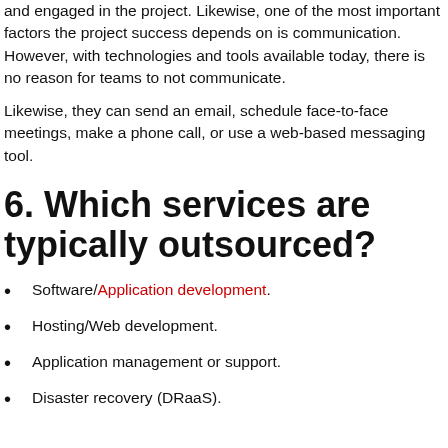and engaged in the project. Likewise, one of the most important factors the project success depends on is communication. However, with technologies and tools available today, there is no reason for teams to not communicate.
Likewise, they can send an email, schedule face-to-face meetings, make a phone call, or use a web-based messaging tool.
6. Which services are typically outsourced?
Software/Application development.
Hosting/Web development.
Application management or support.
Disaster recovery (DRaaS).